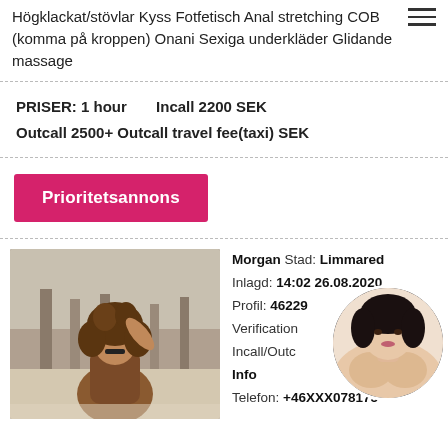Högklackat/stövlar Kyss Fotfetisch Anal stretching COB (komma på kroppen) Onani Sexiga underkläder Glidande massage
PRISER: 1 hour   Incall 2200 SEK
Outcall 2500+ Outcall travel fee(taxi) SEK
Prioritetsannons
[Figure (photo): Woman with curly hair posing outdoors near pillars]
Morgan Stad: Limmared
Inlagd: 14:02 26.08.2020
Profil: 46229...
Verification...
Incall/Outc...
Info
Telefon: +46XXX078175
[Figure (photo): Circular overlay profile photo of dark-haired woman]